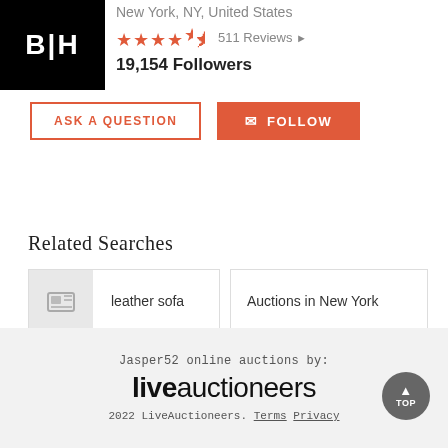[Figure (logo): Black square logo with white text B|H]
New York, NY, United States
★★★★½  511 Reviews ▶
19,154 Followers
ASK A QUESTION
✉ FOLLOW
Related Searches
leather sofa
Auctions in New York
Jasper52 online auctions by: liveauctioneers  2022 LiveAuctioneers. Terms Privacy